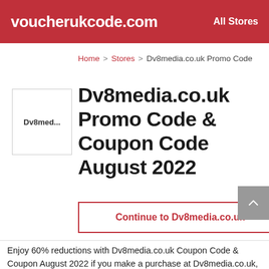voucherukcode.com | All Stores
Home > Stores > Dv8media.co.uk Promo Code
[Figure (logo): Dv8media store logo placeholder box with text 'Dv8med...']
Dv8media.co.uk Promo Code & Coupon Code August 2022
Continue to Dv8media.co.uk
Enjoy 60% reductions with Dv8media.co.uk Coupon Code & Coupon August 2022 if you make a purchase at Dv8media.co.uk, an ideal place to find anything perfect through a large list of categories. Avail exclusive discounts